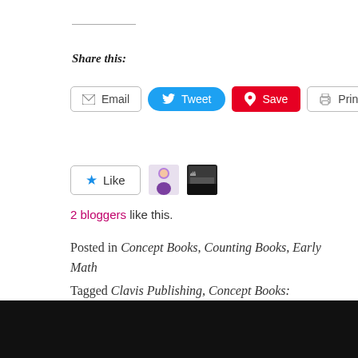Share this:
[Figure (infographic): Share buttons row: Email, Tweet (Twitter/blue), Save (Pinterest/red), Print]
[Figure (infographic): Like button with star icon, two blogger avatar thumbnails]
2 bloggers like this.
Posted in Concept Books, Counting Books, Early Math
Tagged Clavis Publishing, Concept Books: Counting, Concept Books: Numbers, Early Math Picture Books, picture book review, Picture Books, Pip's Big Hide-and-Seek Book, Search and find Books for Children, Thaïs Vanderheyden